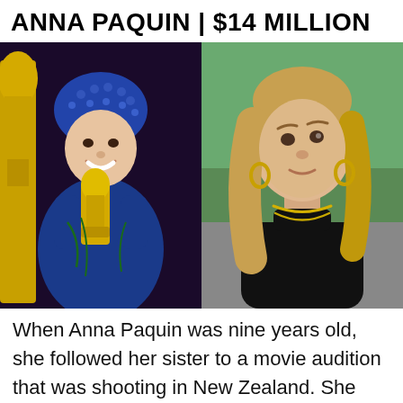ANNA PAQUIN | $14 MILLION
[Figure (photo): Two side-by-side photos of Anna Paquin: left shows her as a young child wearing a blue beaded hat and blue dress, holding an Oscar statuette; right shows her as an adult with blonde wavy hair wearing a black turtleneck top with gold necklaces, posed against a green background.]
When Anna Paquin was nine years old, she followed her sister to a movie audition that was shooting in New Zealand. She ultima[te] bagged the role, beating out more than 5,000